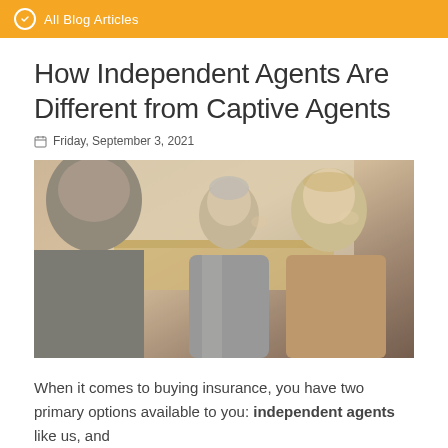All Blog Articles
How Independent Agents Are Different from Captive Agents
Friday, September 3, 2021
[Figure (photo): Three professionals in a business meeting setting — two men and a woman smiling and conversing in an office environment]
When it comes to buying insurance, you have two primary options available to you: independent agents like us, and